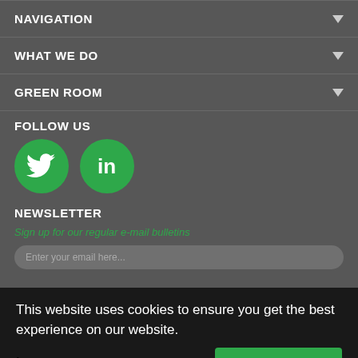NAVIGATION
WHAT WE DO
GREEN ROOM
FOLLOW US
[Figure (illustration): Green circle Twitter bird icon and green circle LinkedIn 'in' icon]
NEWSLETTER
Sign up for our regular e-mail bulletins
This website uses cookies to ensure you get the best experience on our website.
Learn more
Deny Cookies
Allow Cookies